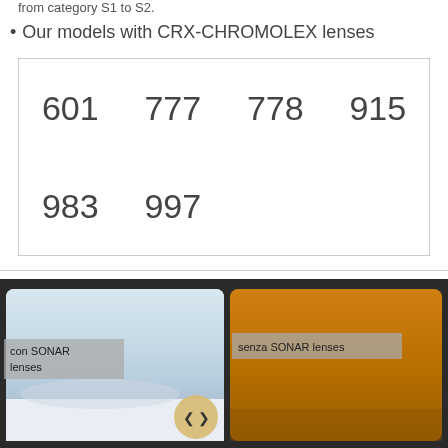from category S1 to S2.
Our models with CRX-CHROMOLEX lenses
| 601 | 777 | 778 | 915 |
| 983 | 997 |  |  |
[Figure (photo): Split comparison image of ski goggles: left side labeled 'con SONAR lenses' showing blue-white ski scene through lens, right side labeled 'senza SONAR lenses' showing orange-tinted view. Navigation arrows (< >) shown at bottom center.]